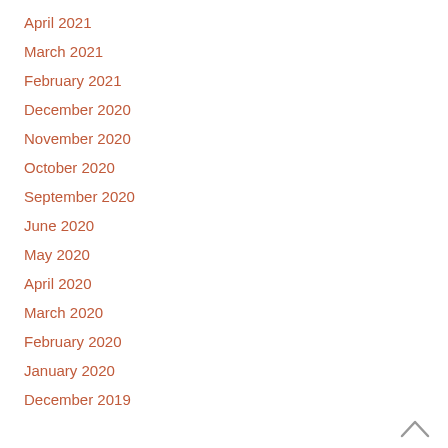April 2021
March 2021
February 2021
December 2020
November 2020
October 2020
September 2020
June 2020
May 2020
April 2020
March 2020
February 2020
January 2020
December 2019